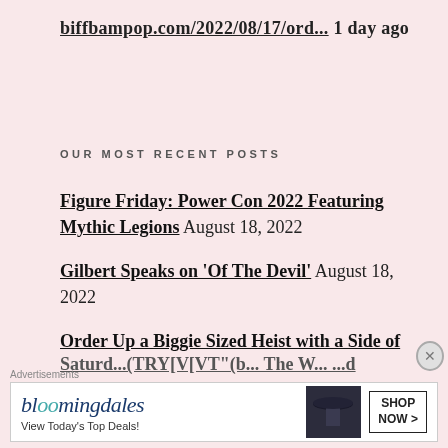biffbampop.com/2022/08/17/ord... 1 day ago
OUR MOST RECENT POSTS
Figure Friday: Power Con 2022 Featuring Mythic Legions August 18, 2022
Gilbert Speaks on 'Of The Devil' August 18, 2022
Order Up a Biggie Sized Heist with a Side of
[Figure (screenshot): Bloomingdale's advertisement banner: logo 'bloomingdales', tagline 'View Today's Top Deals!', image of woman in hat, 'SHOP NOW >' button]
Advertisements